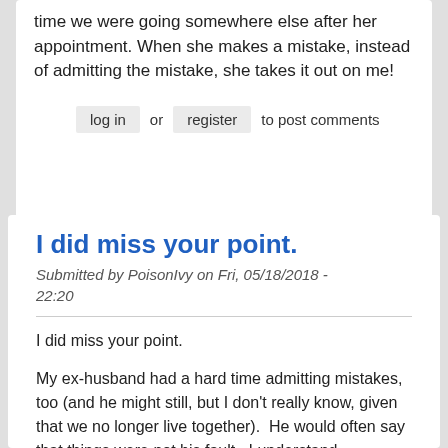time we were going somewhere else after her appointment. When she makes a mistake, instead of admitting the mistake, she takes it out on me!
log in  or  register  to post comments
I did miss your point.
Submitted by PoisonIvy on Fri, 05/18/2018 - 22:20
I did miss your point.
My ex-husband had a hard time admitting mistakes, too (and he might still, but I don't really know, given that we no longer live together).  He would often say that things were not his fault.  I understand